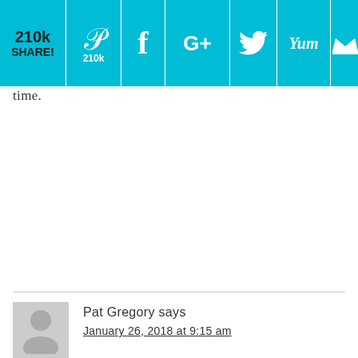[Figure (other): Social share bar with icons: 210k share count, Pinterest (210k), Facebook, Google+, Twitter, Yummly, and another icon on a teal/cyan background]
time.
Pat Gregory says
January 26, 2018 at 9:15 am
I also followed the recipe to the letter. Everything did come out an unappetizing color, not at all like the picture. And the sauce itself was not very good, even a little bitter. I've made a honey roasted chicken that was to die for, but